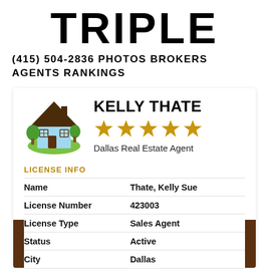TRIPLE
(415) 504-2836 PHOTOS BROKERS AGENTS RANKINGS
KELLY THATE
★★★★★
Dallas Real Estate Agent
LICENSE INFO
|  |  |
| --- | --- |
| Name | Thate, Kelly Sue |
| License Number | 423003 |
| License Type | Sales Agent |
| Status | Active |
| City | Dallas |